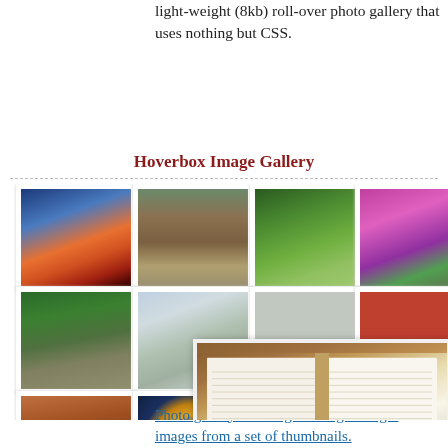light-weight (8kb) roll-over photo gallery that uses nothing but CSS.
Hoverbox Image Gallery
[Figure (photo): A CSS-based hover photo gallery showing a 4-column grid of thumbnail photos including sunset, rock formation, forest, flowers, road, snow-covered tree, lantern on brick wall, stained glass window, sky/water, and an arch. A large hover-expanded photo of an open Bible/book is shown overlapping the grid.]
Photo gallery allowing viewing of larger images from a set of thumbnails.